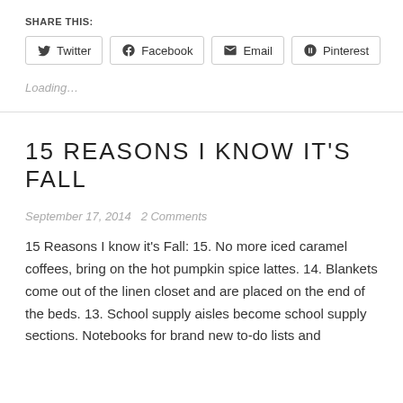SHARE THIS:
Twitter   Facebook   Email   Pinterest
Loading...
15 REASONS I KNOW IT'S FALL
September 17, 2014   2 Comments
15 Reasons I know it's Fall: 15. No more iced caramel coffees, bring on the hot pumpkin spice lattes. 14. Blankets come out of the linen closet and are placed on the end of the beds. 13. School supply aisles become school supply sections. Notebooks for brand new to-do lists and